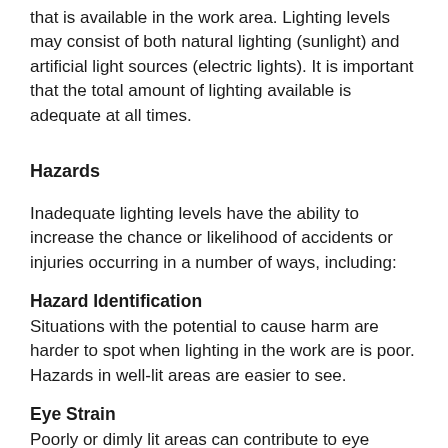that is available in the work area. Lighting levels may consist of both natural lighting (sunlight) and artificial light sources (electric lights). It is important that the total amount of lighting available is adequate at all times.
Hazards
Inadequate lighting levels have the ability to increase the chance or likelihood of accidents or injuries occurring in a number of ways, including:
Hazard Identification
Situations with the potential to cause harm are harder to spot when lighting in the work are is poor. Hazards in well-lit areas are easier to see.
Eye Strain
Poorly or dimly lit areas can contribute to eye strain.
Manual Handling